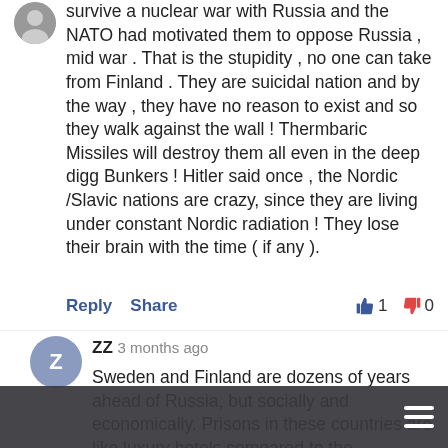survive a nuclear war with Russia and the NATO had motivated them to oppose Russia , mid war . That is the stupidity , no one can take from Finland . They are suicidal nation and by the way , they have no reason to exist and so they walk against the wall ! Thermbaric Missiles will destroy them all even in the deep digg Bunkers ! Hitler said once , the Nordic /Slavic nations are crazy, since they are living under constant Nordic radiation ! They lose their brain with the time ( if any ).
Reply   Share   👍 1   👎 0
ZZ  3 months ago
Sweden and Finland are dozens of years ahead of Russia, but socially and economically. Prisons in these countries are like luxury hotels compared to the Russians, and they don't have political prisoners, unlike in Russia where political prisoners end up in Siberia. You must ask yourselves why do you believe in Putin's lies and his propaganda. He is a lonely man, nowadays without friends in the world. Of course some countries who have...